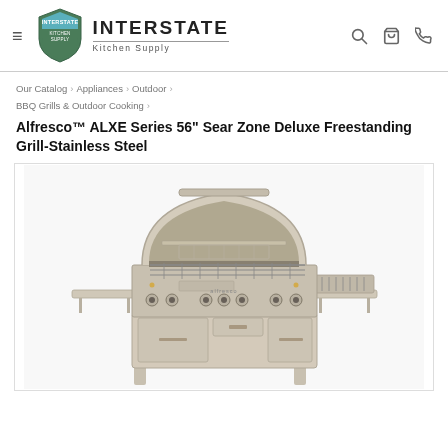Interstate Kitchen Supply
Our Catalog › Appliances › Outdoor › BBQ Grills & Outdoor Cooking ›
Alfresco™ ALXE Series 56" Sear Zone Deluxe Freestanding Grill-Stainless Steel
[Figure (photo): Stainless steel freestanding BBQ grill with open lid showing rotisserie and grill grates, side burner on the right, side shelves, knobs along the front, and storage cabinet base on wheels.]